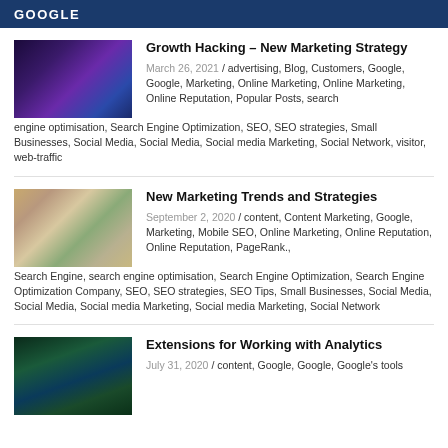GOOGLE
Growth Hacking – New Marketing Strategy
March 26, 2021 / advertising, Blog, Customers, Google, Google, Marketing, Online Marketing, Online Marketing, Online Reputation, Popular Posts, search engine optimisation, Search Engine Optimization, SEO, SEO strategies, Small Businesses, Social Media, Social Media, Social media Marketing, Social Network, visitor, web-traffic
New Marketing Trends and Strategies
September 2, 2020 / content, Content Marketing, Google, Marketing, Mobile SEO, Online Marketing, Online Reputation, Online Reputation, PageRank., Search Engine, search engine optimisation, Search Engine Optimization, Search Engine Optimization Company, SEO, SEO strategies, SEO Tips, Small Businesses, Social Media, Social Media, Social media Marketing, Social media Marketing, Social Network
Extensions for Working with Analytics
July 31, 2020 / content, Google, Google, Google's tools